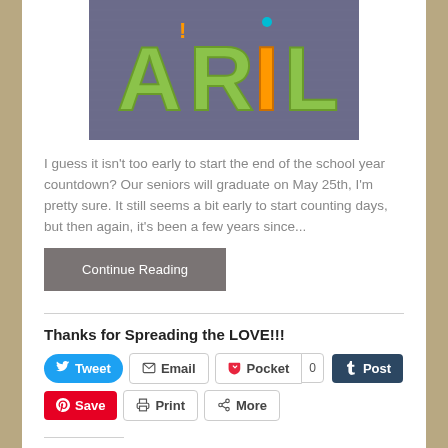[Figure (photo): Photo of colorful felt letters spelling APRIL on a gray denim/burlap background. Letters are in green and orange colors.]
I guess it isn't too early to start the end of the school year countdown? Our seniors will graduate on May 25th, I'm pretty sure. It still seems a bit early to start counting days, but then again, it's been a few years since...
Continue Reading
Thanks for Spreading the LOVE!!!
Tweet  Email  Pocket  0  Post  Save  Print  More